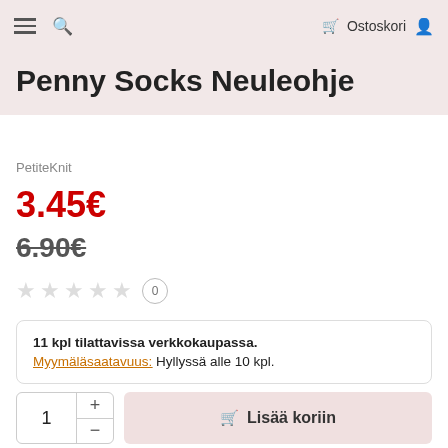Ostoskori
Penny Socks Neuleohje
PetiteKnit
3.45€
6.90€
★★★★★ 0
11 kpl tilattavissa verkkokaupassa.
Myymäläsaatavuus: Hyllyssä alle 10 kpl.
1 + - Lisää koriin